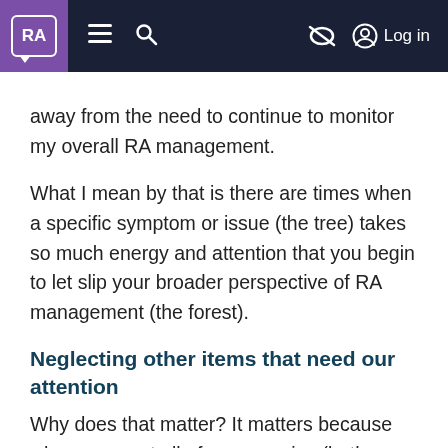RA | Navigation bar with logo, menu, search, and Log in
away from the need to continue to monitor my overall RA management.
What I mean by that is there are times when a specific symptom or issue (the tree) takes so much energy and attention that you begin to let slip your broader perspective of RA management (the forest).
Neglecting other items that need our attention
Why does that matter? It matters because when we exert all of our energies (both mental and physical) on a single situation, it